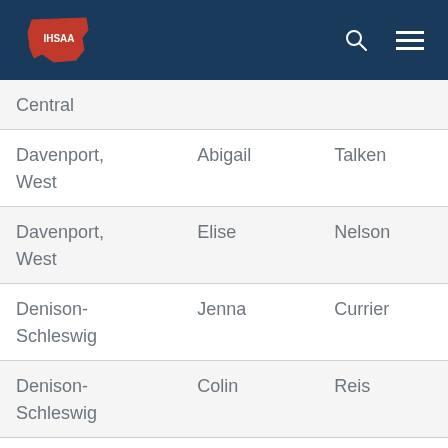IHSAA
| Central |  |  |
| Davenport, West | Abigail | Talken |
| Davenport, West | Elise | Nelson |
| Denison-Schleswig | Jenna | Currier |
| Denison-Schleswig | Colin | Reis |
| Des Moines, | McKenna | Dolphin |